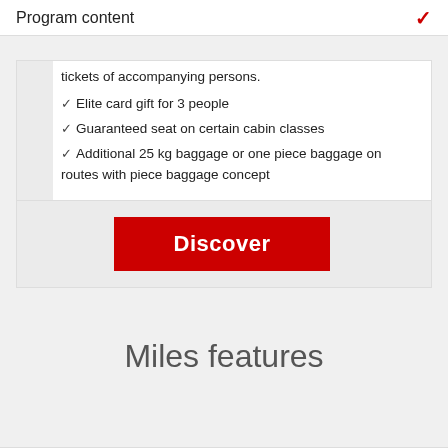Program content
tickets of accompanying persons.
Elite card gift for 3 people
Guaranteed seat on certain cabin classes
Additional 25 kg baggage or one piece baggage on routes with piece baggage concept
Discover
Miles features